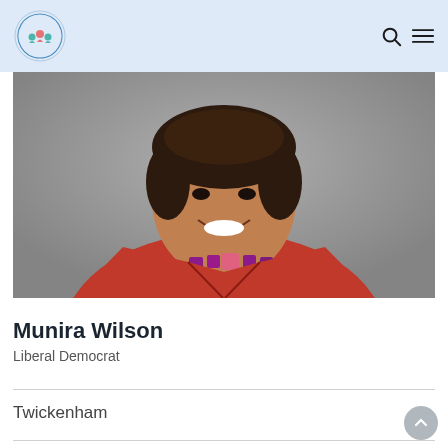Child Mental Health Charity logo, search icon, menu icon
[Figure (photo): Portrait photo of Munira Wilson, a woman with short dark hair, smiling, wearing a red blazer and a statement necklace with purple and pink geometric pieces, against a grey background.]
Munira Wilson
Liberal Democrat
Twickenham